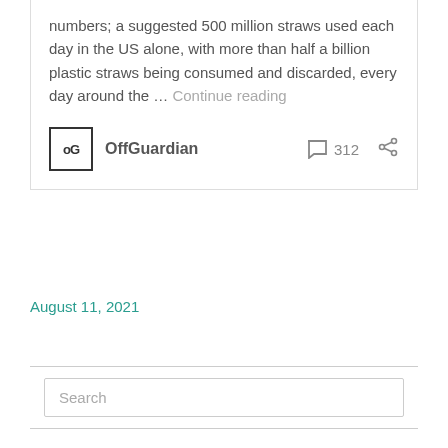numbers; a suggested 500 million straws used each day in the US alone, with more than half a billion plastic straws being consumed and discarded, every day around the … Continue reading
OffGuardian  312
August 11, 2021
Search
Become a patron